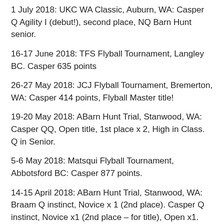1 July 2018: UKC WA Classic, Auburn, WA: Casper Q Agility I (debut!), second place, NQ Barn Hunt senior.
16-17 June 2018: TFS Flyball Tournament, Langley BC. Casper 635 points
26-27 May 2018: JCJ Flyball Tournament, Bremerton, WA: Casper 414 points, Flyball Master title!
19-20 May 2018: ABarn Hunt Trial, Stanwood, WA: Casper QQ, Open title, 1st place x 2, High in Class. Q in Senior.
5-6 May 2018: Matsqui Flyball Tournament, Abbotsford BC: Casper 877 points.
14-15 April 2018: ABarn Hunt Trial, Stanwood, WA: Braam Q instinct, Novice x 1 (2nd place). Casper Q instinct, Novice x1 (2nd place – for title), Open x1.
13 April 2018: IGF Fast CAT, Moses Lake, WA: Casper Q 7.8 seconds, BCAT Title. Braam Q, time TBD.
7th April 2018: PNW Barn Hunt Trial, Chehalis, WA: Braam Q Instinct, Casper QQ Novice